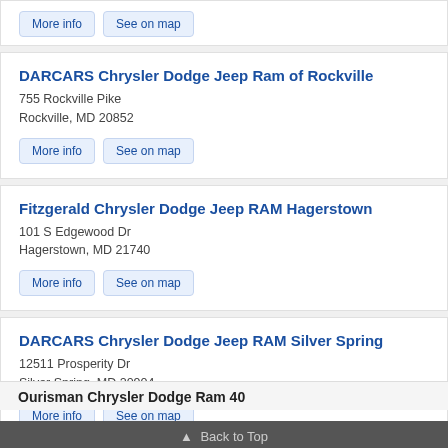More info | See on map (partial top card buttons)
DARCARS Chrysler Dodge Jeep Ram of Rockville
755 Rockville Pike
Rockville, MD 20852
More info | See on map
Fitzgerald Chrysler Dodge Jeep RAM Hagerstown
101 S Edgewood Dr
Hagerstown, MD 21740
More info | See on map
DARCARS Chrysler Dodge Jeep RAM Silver Spring
12511 Prosperity Dr
Silver Spring, MD 20904
More info | See on map
▲ Back to Top
Ourisman Chrysler Dodge Ram 40